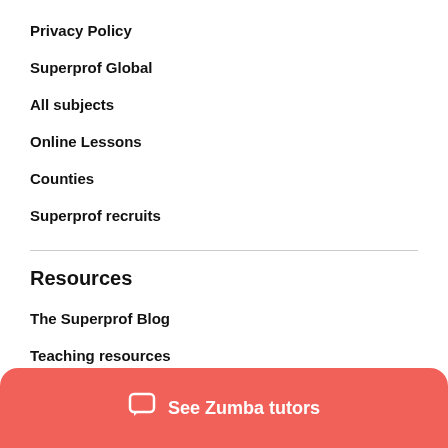Privacy Policy
Superprof Global
All subjects
Online Lessons
Counties
Superprof recruits
Resources
The Superprof Blog
Teaching resources
Help
See Zumba tutors